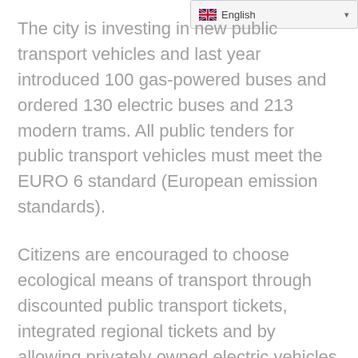English
The city is investing in new public transport vehicles and last year introduced 100 gas-powered buses and ordered 130 electric buses and 213 modern trams. All public tenders for public transport vehicles must meet the EURO 6 standard (European emission standards).
Citizens are encouraged to choose ecological means of transport through discounted public transport tickets, integrated regional tickets and by allowing privately owned electric vehicles to use bus lanes and park for free.
The municipal infrastructure is being redesigned to reduce energy consumption. This includes the